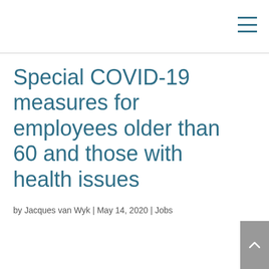Special COVID-19 measures for employees older than 60 and those with health issues
by Jacques van Wyk | May 14, 2020 | Jobs